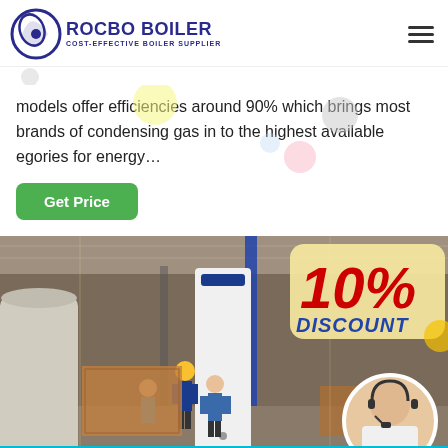[Figure (logo): Rocbo Boiler logo with circular blue emblem and text 'ROCBO BOILER - COST-EFFECTIVE BOILER SUPPLIER']
models offer efficiencies around 90% which brings most brands of condensing gas in to the highest available egories for energy…
Get Price
[Figure (photo): Factory floor with boiler equipment and workers, overlaid with a 10% DISCOUNT badge and a customer service agent portrait circle, with '7X24 Online' bar at the bottom]